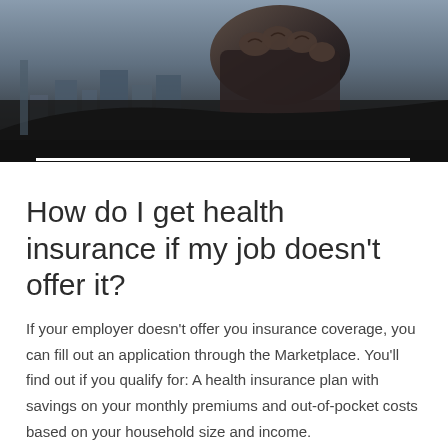[Figure (photo): Close-up photo of a person's fist/hand holding something, with a city skyline in the dark background]
How do I get health insurance if my job doesn't offer it?
If your employer doesn't offer you insurance coverage, you can fill out an application through the Marketplace. You'll find out if you qualify for: A health insurance plan with savings on your monthly premiums and out-of-pocket costs based on your household size and income.
How much does health insurance cost if you are unemployed?
Most short-term plans are easy to get and can be a helpful solution